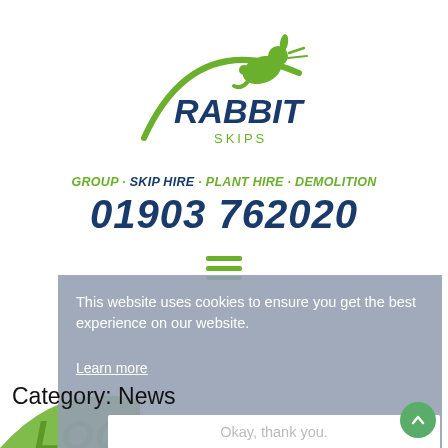[Figure (logo): Rabbit Skips logo — a running rabbit in green above the word RABBIT in dark blue bold italic, with SKIPS in green below]
GROUP · SKIP HIRE · PLANT HIRE · DEMOLITION
01903 762020
[Figure (other): Hamburger menu icon, three green horizontal lines]
This website uses cookies to ensure you get the best experience on our website.
Learn more
Category: News
Okay, thank you.
N E W S
LOCAL SKIP HIRE